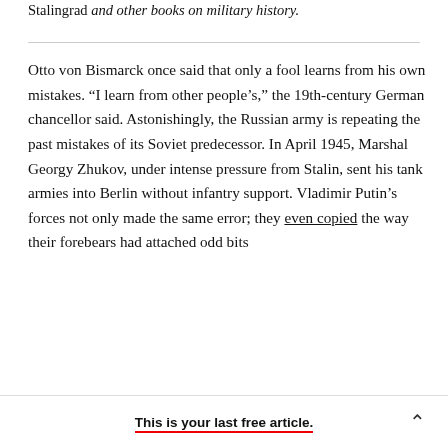Stalingrad and other books on military history.
Otto von Bismarck once said that only a fool learns from his own mistakes. “I learn from other people’s,” the 19th-century German chancellor said. Astonishingly, the Russian army is repeating the past mistakes of its Soviet predecessor. In April 1945, Marshal Georgy Zhukov, under intense pressure from Stalin, sent his tank armies into Berlin without infantry support. Vladimir Putin’s forces not only made the same error; they even copied the way their forebears had attached odd bits
This is your last free article.